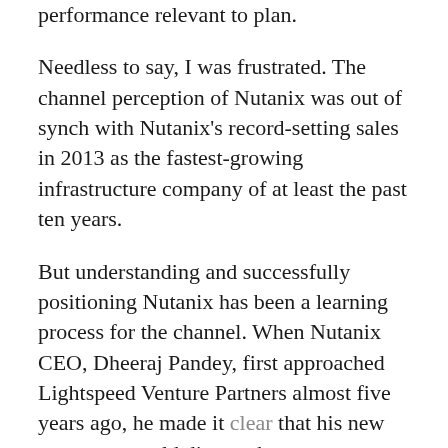performance relevant to plan.
Needless to say, I was frustrated. The channel perception of Nutanix was out of synch with Nutanix's record-setting sales in 2013 as the fastest-growing infrastructure company of at least the past ten years.
But understanding and successfully positioning Nutanix has been a learning process for the channel. When Nutanix CEO, Dheeraj Pandey, first approached Lightspeed Venture Partners almost five years ago, he made it clear that his new company would disrupt the storage industry, including the most...